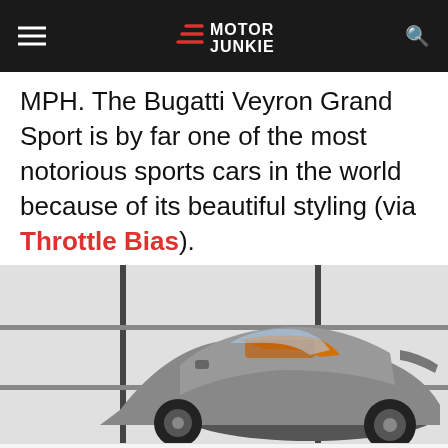Motor Junkie
MPH. The Bugatti Veyron Grand Sport is by far one of the most notorious sports cars in the world because of its beautiful styling (via Throttle Bias).
[Figure (photo): A silver/gray Bugatti Veyron Grand Sport open-top sports car with orange interior, photographed in a showroom with a geometric panel wall background.]
Advertisement
[Figure (screenshot): CVS Pharmacy advertisement banner: Buy Online, Pick Up In-Store. CVS Pharmacy logo and blue direction arrow icon.]